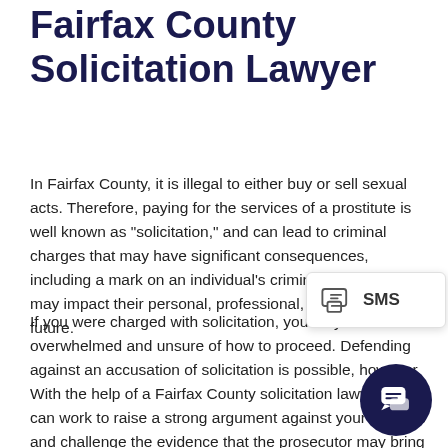Fairfax County Solicitation Lawyer
In Fairfax County, it is illegal to either buy or sell sexual acts. Therefore, paying for the services of a prostitute is well known as "solicitation," and can lead to criminal charges that may have significant consequences, including a mark on an individual's criminal record that may impact their personal, professional, and financial future.
If you were charged with solicitation, you may be overwhelmed and unsure of how to proceed. Defending against an accusation of solicitation is possible, however. With the help of a Fairfax County solicitation lawyer, you can work to raise a strong argument against your charges and challenge the evidence that the prosecutor may bring to court. A tenacious defense attorney could guide you through each step of the legal proceedings and help to shoulder the